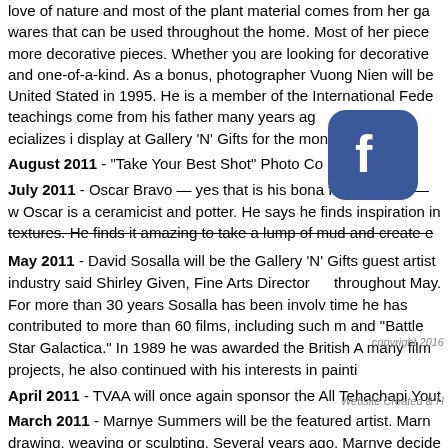love of nature and most of the plant material comes from her ga wares that can be used throughout the home. Most of her piece more decorative pieces. Whether you are looking for decorative and one-of-a-kind. As a bonus, photographer Vuong Nien will be United Stated in 1995. He is a member of the International Fede teachings come from his father many years ago specializes i display at Gallery 'N' Gifts for the month of Oct
August 2011 - "Take Your Best Shot" Photo Co lay.
July 2011 - Oscar Bravo — yes that is his bona fide moniker — w Oscar is a ceramicist and potter. He says he finds inspiration in textures. He finds it amazing to take a lump of mud and create e
May 2011 - David Sosalla will be the Gallery 'N' Gifts guest artist industry said Shirley Given, Fine Arts Director throughout May. For more than 30 years Sosalla has been involv time he has contributed to more than 60 films, including such m and "Battle Star Galactica." In 1989 he was awarded the British A many film projects, he also continued with his interests in painti
April 2011 - TVAA will once again sponsor the All Tehachapi Yout
March 2011 - Marnye Summers will be the featured artist. Marny drawing, weaving or sculpting. Several years ago, Marnye decide College's Veterinary Technician program and graduated in 2004. Using colored pencils, Marnye won several awards in juried sho weld. A plasma cutter and MIG welder are now her tools of choi art. Her models are her six rescued dogs: Spam, Brillo, Thud, Wa several different styles. She will work from clients' favorite photo
February 2011 - Annual TVAA Photo Contest Awards Reception.
January 2011 - The fine arts room is undergoing a transformatio